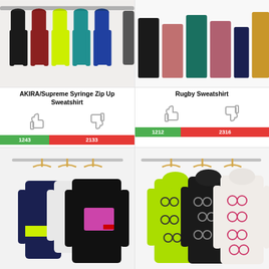[Figure (photo): Partial top of page showing colorful hoodies/sweatshirts on rack (left) and folded sweatshirts in multiple colors (right)]
AKIRA/Supreme Syringe Zip Up Sweatshirt
Rugby Sweatshirt
[Figure (infographic): Thumbs up and thumbs down icons with vote bar: 1243 green, 2133 red for AKIRA/Supreme Syringe Zip Up Sweatshirt]
[Figure (infographic): Thumbs up and thumbs down icons with vote bar: 1212 green, 2316 red for Rugby Sweatshirt]
[Figure (photo): Three sweatshirts on hangers: navy, white, and black with pink pocket (Polo Crewneck)]
[Figure (photo): Three hooded sweatshirts on hangers in green, black, and white with chain/handcuff pattern (Handcuffs Hooded Sweatshirt)]
Polo Crewneck
Handcuffs Hooded Sweatshirt